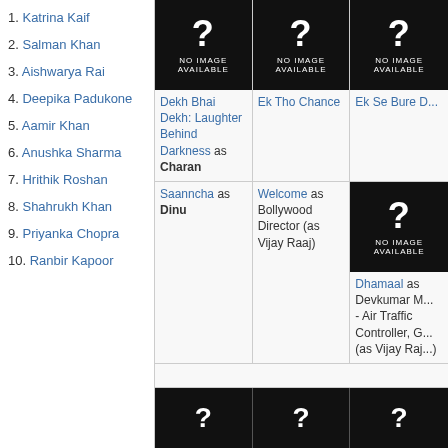1. Katrina Kaif
2. Salman Khan
3. Aishwarya Rai
4. Deepika Padukone
5. Aamir Khan
6. Anushka Sharma
7. Hrithik Roshan
8. Shahrukh Khan
9. Priyanka Chopra
10. Ranbir Kapoor
[Figure (photo): No image available placeholder for Dekh Bhai Dekh: Laughter Behind Darkness]
Dekh Bhai Dekh: Laughter Behind Darkness as Charan
[Figure (photo): No image available placeholder for Ek Tho Chance]
Ek Tho Chance
[Figure (photo): No image available placeholder for Ek Se Bure Do]
Ek Se Bure D...
Saanncha as Dinu
Welcome as Bollywood Director (as Vijay Raaj)
[Figure (photo): No image available placeholder for Dhamaal]
Dhamaal as Devkumar M... - Air Traffic Controller, G... (as Vijay Raj...)